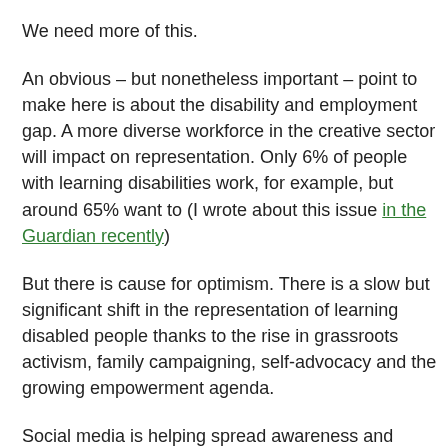We need more of this.
An obvious – but nonetheless important – point to make here is about the disability and employment gap. A more diverse workforce in the creative sector will impact on representation. Only 6% of people with learning disabilities work, for example, but around 65% want to (I wrote about this issue in the Guardian recently)
But there is cause for optimism. There is a slow but significant shift in the representation of learning disabled people thanks to the rise in grassroots activism, family campaigning, self-advocacy and the growing empowerment agenda.
Social media is helping spread awareness and spread a different narrative.
This rise in self-advocacy is what led me to develop Made Possible. The book's aim is to challenge stereotypes; it targets